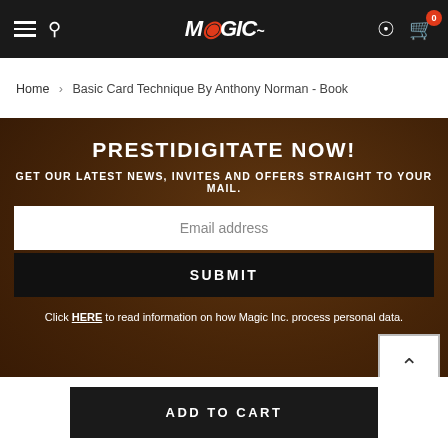Magic Inc. navigation bar with hamburger menu, search, logo, account, and cart (0 items)
Home › Basic Card Technique By Anthony Norman - Book
PRESTIDIGITATE NOW!
GET OUR LATEST NEWS, INVITES AND OFFERS STRAIGHT TO YOUR MAIL.
Email address
SUBMIT
Click HERE to read information on how Magic Inc. process personal data.
ADD TO CART